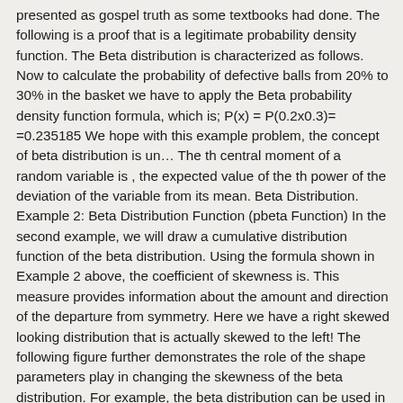presented as gospel truth as some textbooks had done. The following is a proof that is a legitimate probability density function. The Beta distribution is characterized as follows. Now to calculate the probability of defective balls from 20% to 30% in the basket we have to apply the Beta probability density function formula, which is; P(x) = P(0.2x0.3)= =0.235185 We hope with this example problem, the concept of beta distribution is un… The th central moment of a random variable is , the expected value of the th power of the deviation of the variable from its mean. Beta Distribution. Example 2: Beta Distribution Function (pbeta Function) In the second example, we will draw a cumulative distribution function of the beta distribution. Using the formula shown in Example 2 above, the coefficient of skewness is. This measure provides information about the amount and direction of the departure from symmetry. Here we have a right skewed looking distribution that is actually skewed to the left! The following figure further demonstrates the role of the shape parameters play in changing the skewness of the beta distribution. For example, the beta distribution can be used in Bayesian analysis to describe initial knowledge concerning probability of success such as the probability